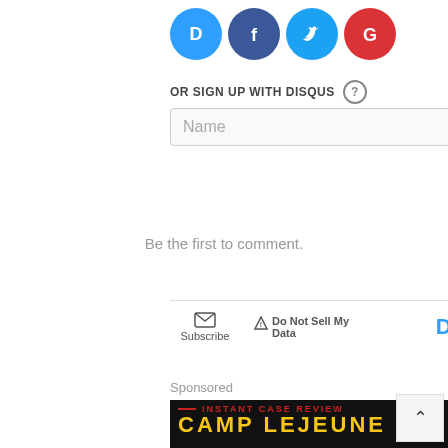[Figure (logo): Social login icons: Disqus (blue), Facebook (dark blue), Twitter (light blue), Google (red) as circular badges]
OR SIGN UP WITH DISQUS ?
Name
Be the first to comment.
Subscribe
Do Not Sell My Data
DISQUS
Sponsored
[Figure (infographic): Advertisement banner with black background showing INSTANT CASE REVIEW in red text with a military eagle emblem and CAMP LEJEUNE in yellow text]